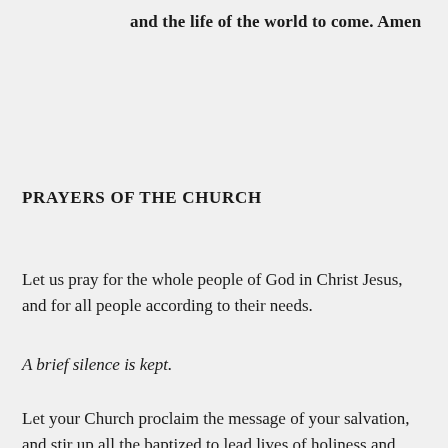and the life of the world to come. Amen
PRAYERS OF THE CHURCH
Let us pray for the whole people of God in Christ Jesus, and for all people according to their needs.
A brief silence is kept.
Let your Church proclaim the message of your salvation, and stir up all the baptized to lead lives of holiness and godliness. Lord, in your mercy,